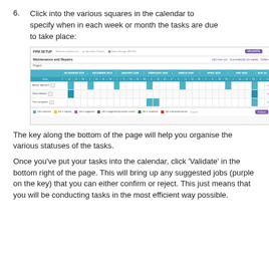6. Click into the various squares in the calendar to specify when in each week or month the tasks are due to take place:
[Figure (screenshot): Screenshot of a PPM setup calendar view titled 'Maintenance and Repairs', showing a Gantt-style weekly calendar grid with teal/blue filled cells for three tasks: 'Monitor hydraulics', 'Clean radiators', and 'Clear out gutters'. The bottom of the screenshot shows a colour-coded key legend and a Validate button.]
The key along the bottom of the page will help you organise the various statuses of the tasks.
Once you've put your tasks into the calendar, click 'Validate' in the bottom right of the page. This will bring up any suggested jobs (purple on the key) that you can either confirm or reject. This just means that you will be conducting tasks in the most efficient way possible.